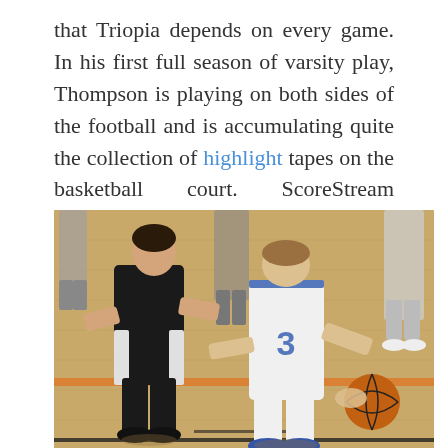that Triopia depends on every game. In his first full season of varsity play, Thompson is playing on both sides of the football and is accumulating quite the collection of highlight tapes on the basketball court. ScoreStream connected with Thompson to ask him a few questions that the fans want to know!
[Figure (photo): Two youth basketball players on a hardwood court — one in a black uniform defending, one in a white uniform with number 3 dribbling a basketball. Additional players visible in the background on an orange-striped gym floor.]